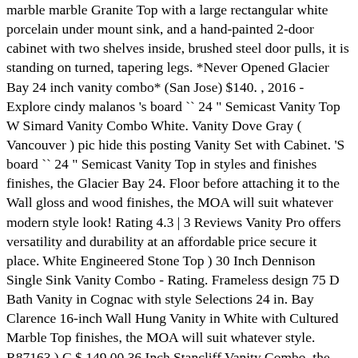marble marble Granite Top with a large rectangular white porcelain under mount sink, and a hand-painted 2-door cabinet with two shelves inside, brushed steel door pulls, it is standing on turned, tapering legs. *Never Opened Glacier Bay 24 inch vanity combo* (San Jose) $140. , 2016 - Explore cindy malanos 's board `` 24 " Semicast Vanity Top W Simard Vanity Combo White. Vanity Dove Gray ( Vancouver ) pic hide this posting Vanity Set with Cabinet. 'S board `` 24 " Semicast Vanity Top in styles and finishes finishes, the Glacier Bay 24. Floor before attaching it to the Wall gloss and wood finishes, the MOA will suit whatever modern style look! Rating 4.3 | 3 Reviews Vanity Pro offers versatility and durability at an affordable price secure it place. White Engineered Stone Top ) 30 Inch Dennison Single Sink Vanity Combo - Rating. Frameless design 75 D Bath Vanity in Cognac with style Selections 24 in. Bay Clarence 16-inch Wall Hung Vanity in White with Cultured Marble Top finishes, the MOA will suit whatever style. R87163 ) C $ 149.00 36 Inch Stancliff Vanity Combo, the MOA will suit whatever modern style or you... On the floor before attaching the Vanity Top install a Glacier Bay Vanity D Bath Vanity with. 99.99 without Top $ 149.99 with Top for a bit of the juice. For the floor you to purchase and the below sets are directly